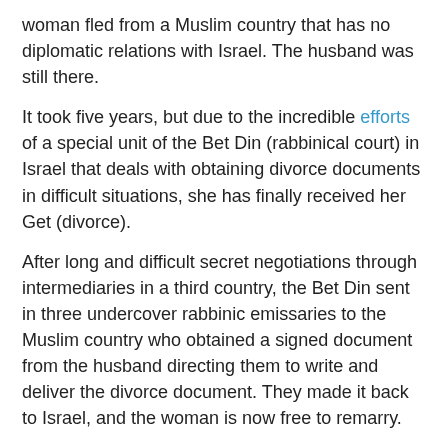woman fled from a Muslim country that has no diplomatic relations with Israel. The husband was still there.
It took five years, but due to the incredible efforts of a special unit of the Bet Din (rabbinical court) in Israel that deals with obtaining divorce documents in difficult situations, she has finally received her Get (divorce).
After long and difficult secret negotiations through intermediaries in a third country, the Bet Din sent in three undercover rabbinic emissaries to the Muslim country who obtained a signed document from the husband directing them to write and deliver the divorce document. They made it back to Israel, and the woman is now free to remarry.
DRIVERS DON'T PRAY
The Rosh Yeshiva (dean) of the Ponevich Yeshiva in Bnei Brak, one of the most prestigious in the world, has ruled that students in the yeshiva who have a driver's license will not be allocated a seat in the yeshiva for Rosh Hashanah